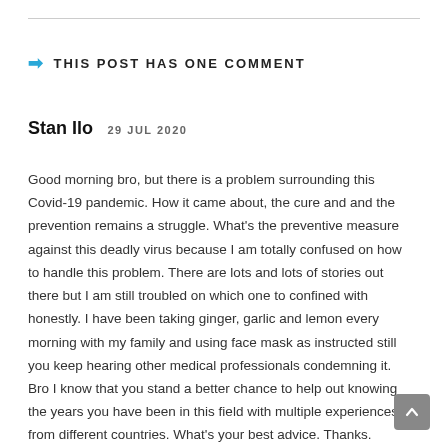THIS POST HAS ONE COMMENT
Stan Ilo 29 JUL 2020
Good morning bro, but there is a problem surrounding this Covid-19 pandemic. How it came about, the cure and and the prevention remains a struggle. What’s the preventive measure against this deadly virus because I am totally confused on how to handle this problem. There are lots and lots of stories out there but I am still troubled on which one to confined with honestly. I have been taking ginger, garlic and lemon every morning with my family and using face mask as instructed still you keep hearing other medical professionals condemning it. Bro I know that you stand a better chance to help out knowing the years you have been in this field with multiple experiences from different countries. What’s your best advice. Thanks.